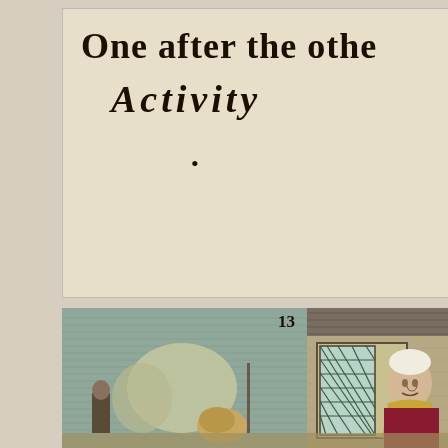One after the othe
ACTIVITY
•
13
[Figure (illustration): A coloured engraving showing an outdoor village scene. On the right side is a building with a latticed diamond-pane window through which an elderly person wearing a white cap and yellow shawl is visible. To the left is open landscape with trees, a figure, and what appears to be a haystack or bundle on the ground.]